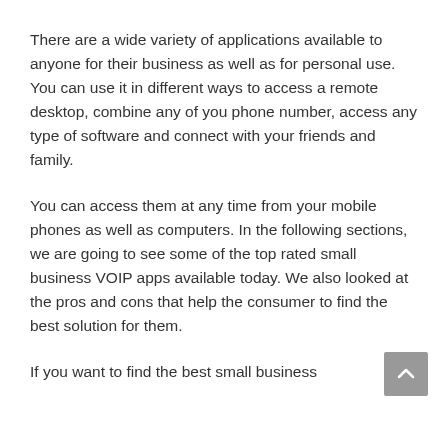There are a wide variety of applications available to anyone for their business as well as for personal use. You can use it in different ways to access a remote desktop, combine any of you phone number, access any type of software and connect with your friends and family.
You can access them at any time from your mobile phones as well as computers. In the following sections, we are going to see some of the top rated small business VOIP apps available today. We also looked at the pros and cons that help the consumer to find the best solution for them.
If you want to find the best small business